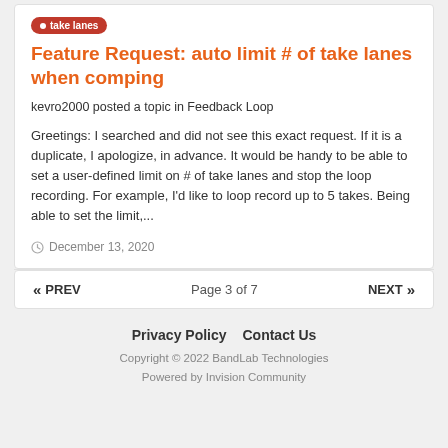Feature Request: auto limit # of take lanes when comping
kevro2000 posted a topic in Feedback Loop
Greetings: I searched and did not see this exact request. If it is a duplicate, I apologize, in advance. It would be handy to be able to set a user-defined limit on # of take lanes and stop the loop recording. For example, I'd like to loop record up to 5 takes. Being able to set the limit,...
December 13, 2020
« PREV    Page 3 of 7    NEXT »
Privacy Policy    Contact Us
Copyright © 2022 BandLab Technologies
Powered by Invision Community